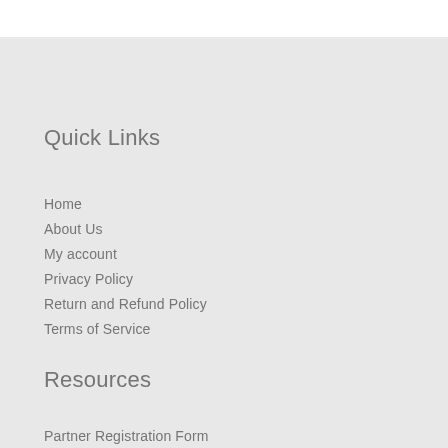Quick Links
Home
About Us
My account
Privacy Policy
Return and Refund Policy
Terms of Service
Resources
Partner Registration Form
Invegora Partner Program Terms of Service